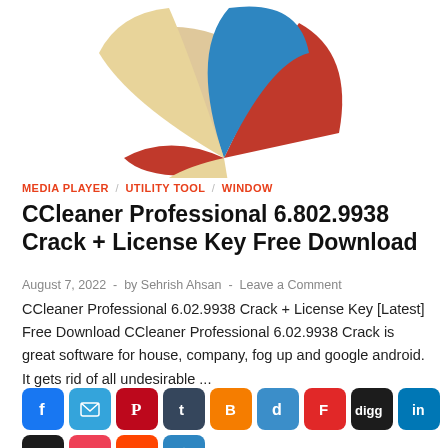[Figure (logo): CCleaner logo — colorful fan/broom shape with blue, red, and tan segments on white background]
MEDIA PLAYER / UTILITY TOOL / WINDOW
CCleaner Professional 6.802.9938 Crack + License Key Free Download
August 7, 2022  -  by Sehrish Ahsan  -  Leave a Comment
CCleaner Professional 6.02.9938 Crack + License Key [Latest] Free Download CCleaner Professional 6.02.9938 Crack is great software for house, company, fog up and google android. It gets rid of all undesirable ...
[Figure (other): Row of social media sharing buttons: Facebook, Email, Pinterest, Tumblr, Blogger, Delicious, Flipboard, Digg, LinkedIn, Instapaper, Pocket, Reddit, Share]